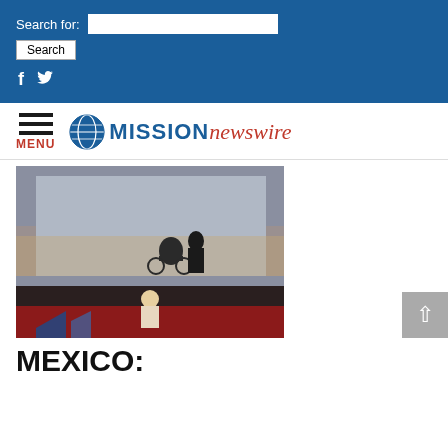Search for: [input] Search
[Figure (logo): Mission Newswire logo with globe icon, MISSION in bold blue caps, newswire in red italic script]
[Figure (photo): A person in a wheelchair on a stage with a large projected screen behind them showing a crowd scene outdoors, a presenter standing at the front of the stage]
MEXICO: